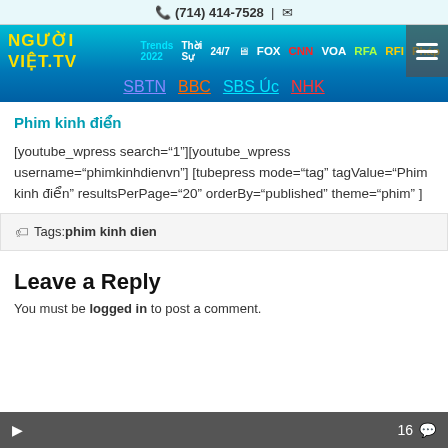📞 (714) 414-7528 | ✉
NGƯỜI VIỆT TV Trends 2022 Thời Sự 24/7 FOX CNN VOA RFA RFI Pháp SBTN BBC SBS Úc NHK
Phim kinh điển
[youtube_wpress search="1"][youtube_wpress username="phimkinhdienvn"] [tubepress mode="tag" tagValue="Phim kinh điển" resultsPerPage="20" orderBy="published" theme="phim" ]
🏷 Tags: phim kinh dien
Leave a Reply
You must be logged in to post a comment.
▶ 16 💬